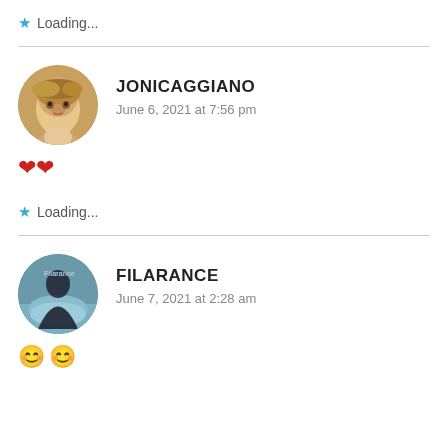★ Loading...
JONICAGGIANO
June 6, 2021 at 7:56 pm
❤❤
★ Loading...
FILARANCE
June 7, 2021 at 2:28 am
😊😊